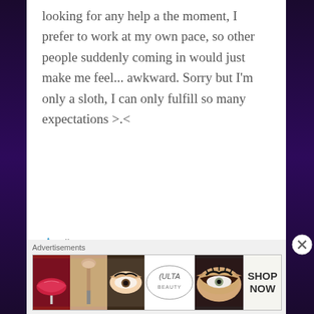looking for any help a the moment, I prefer to work at my own pace, so other people suddenly coming in would just make me feel... awkward. Sorry but I'm only a sloth, I can only fulfill so many expectations >.<
★ Like
Reply
jacobpaige
JANUARY 13, 2016 AT 2:16 AM
Advertisements
[Figure (other): Advertisements banner showing cosmetics/beauty products including lips with lipstick, makeup brush, eye with mascara, Ulta Beauty logo, dramatic eye makeup, and SHOP NOW text]